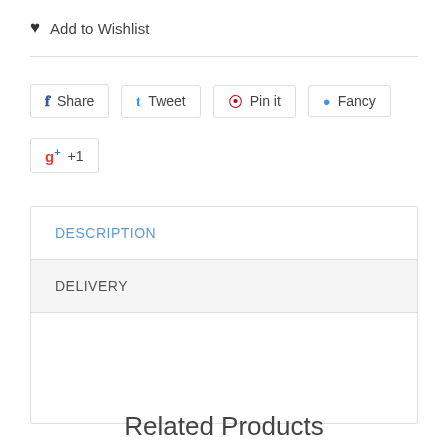♥  Add to Wishlist
[Figure (infographic): Social sharing buttons row: Share (Facebook), Tweet (Twitter), Pin it (Pinterest), Fancy]
[Figure (infographic): Google Plus +1 button]
DESCRIPTION
DELIVERY
Related Products